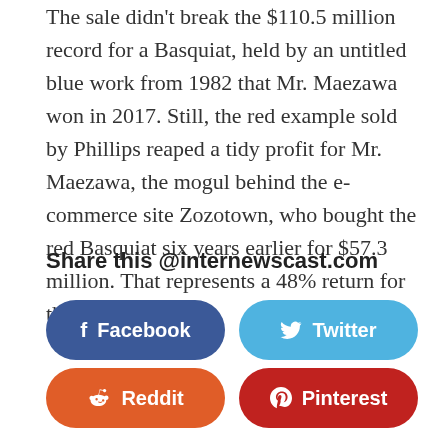The sale didn't break the $110.5 million record for a Basquiat, held by an untitled blue work from 1982 that Mr. Maezawa won in 2017. Still, the red example sold by Phillips reaped a tidy profit for Mr. Maezawa, the mogul behind the e-commerce site Zozotown, who bought the red Basquiat six years earlier for $57.3 million. That represents a 48% return for the collector.
Share this @internewscast.com
[Figure (other): Social share buttons: Facebook (dark blue), Twitter (light blue), Reddit (orange), Pinterest (dark red)]